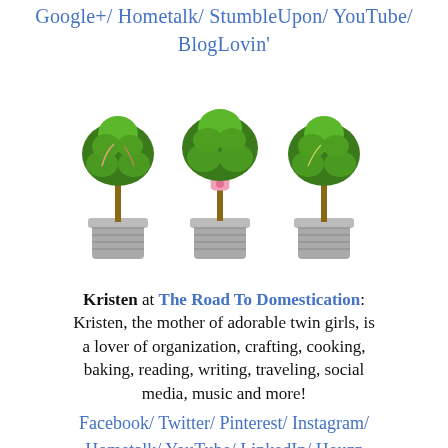Google+/ Hometalk/ StumbleUpon/ YouTube/ BlogLovin'
[Figure (illustration): Three decorative topiary plants in grey pots, arranged side by side. The middle one has a pink bow.]
Kristen at The Road To Domestication: Kristen, the mother of adorable twin girls, is a lover of organization, crafting, cooking, baking, reading, writing, traveling, social media, music and more!
Facebook/ Twitter/ Pinterest/ Instagram/ Hometalk/ YouTube/ LinkedIn/ Houzz